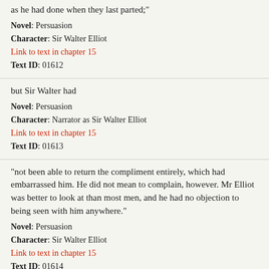as he had done when they last parted;"
Novel: Persuasion
Character: Sir Walter Elliot
Link to text in chapter 15
Text ID: 01612
but Sir Walter had
Novel: Persuasion
Character: Narrator as Sir Walter Elliot
Link to text in chapter 15
Text ID: 01613
"not been able to return the compliment entirely, which had embarrassed him. He did not mean to complain, however. Mr Elliot was better to look at than most men, and he had no objection to being seen with him anywhere."
Novel: Persuasion
Character: Sir Walter Elliot
Link to text in chapter 15
Text ID: 01614